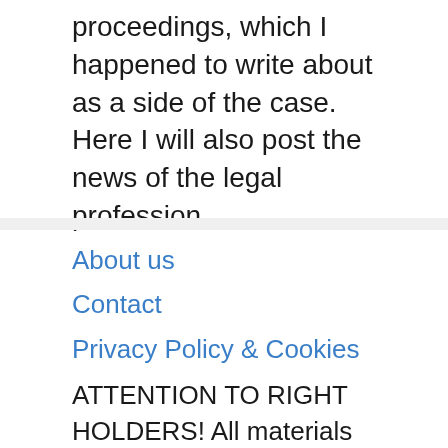proceedings, which I happened to write about as a side of the case. Here I will also post the news of the legal profession.
About us
Contact
Privacy Policy & Cookies
ATTENTION TO RIGHT HOLDERS! All materials are posted on the site strictly for informational and educational purposes! If you believe that the posting of any material infringes your copyright, be sure to contact us through the contact form and your material will be removed!